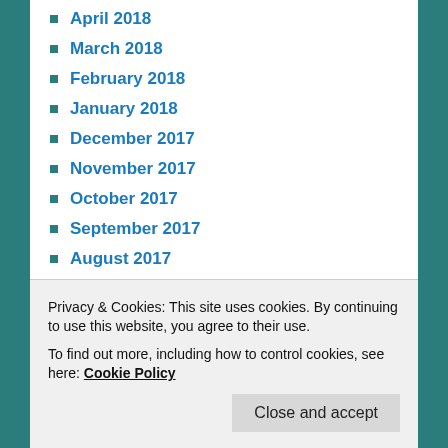April 2018
March 2018
February 2018
January 2018
December 2017
November 2017
October 2017
September 2017
August 2017
July 2017
June 2017
May 2017
April 2017
March 2017
February 2017
Privacy & Cookies: This site uses cookies. By continuing to use this website, you agree to their use.
To find out more, including how to control cookies, see here: Cookie Policy